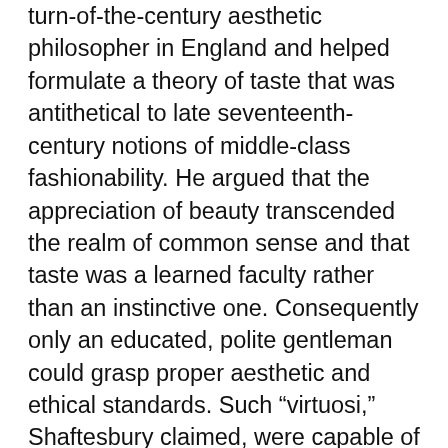turn-of-the-century aesthetic philosopher in England and helped formulate a theory of taste that was antithetical to late seventeenth-century notions of middle-class fashionability. He argued that the appreciation of beauty transcended the realm of common sense and that taste was a learned faculty rather than an instinctive one. Consequently only an educated, polite gentleman could grasp proper aesthetic and ethical standards. Such “virtuosi,” Shaftesbury claimed, were capable of the disinterest necessary for accurate aesthetic judgment. Nor was Shaftesbury alone in his opinions. The great essayist Joseph Addison explicitly compared aesthetic sensibility to the ownership of property by a gentleman: “A Man of a Polite Imagination is let into a great many Pleasures that the Vulgar are not capable of receiving. He can converse with a Picture, and find an agreeable Companion